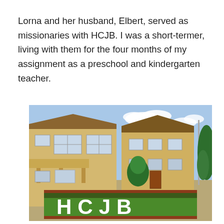Lorna and her husband, Elbert, served as missionaries with HCJB. I was a short-termer, living with them for the four months of my assignment as a preschool and kindergarten teacher.
[Figure (photo): Exterior photo of a two-story cream/yellow building with the letters HCJB spelled out in white on a grass lawn in the foreground. Trees and blue sky visible in the background.]